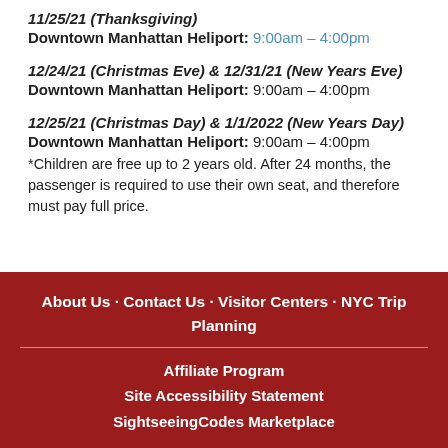11/25/21 (Thanksgiving)
Downtown Manhattan Heliport: 9:00am – 4:00pm
12/24/21 (Christmas Eve) & 12/31/21 (New Years Eve)
Downtown Manhattan Heliport: 9:00am – 4:00pm
12/25/21 (Christmas Day) & 1/1/2022 (New Years Day)
Downtown Manhattan Heliport: 9:00am – 4:00pm
*Children are free up to 2 years old. After 24 months, the passenger is required to use their own seat, and therefore must pay full price.
About Us · Contact Us · Visitor Centers · NYC Trip Planning
Affiliate Program
Site Accessibility Statement
SightseeingCodes Marketplace